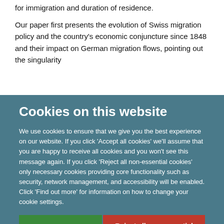for immigration and duration of residence.
Our paper first presents the evolution of Swiss migration policy and the country's economic conjuncture since 1848 and their impact on German migration flows, pointing out the singularity
Cookies on this website
We use cookies to ensure that we give you the best experience on our website. If you click 'Accept all cookies' we'll assume that you are happy to receive all cookies and you won't see this message again. If you click 'Reject all non-essential cookies' only necessary cookies providing core functionality such as security, network management, and accessibility will be enabled. Click 'Find out more' for information on how to change your cookie settings.
Accept all cookies
Reject all non-essential cookies
Find out more